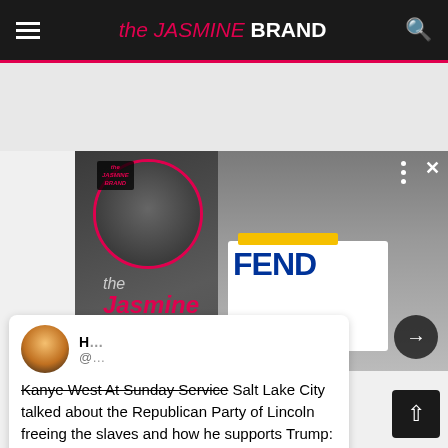the JASMINE BRAND
[Figure (photo): Photo collage showing two people with 'the Jasmine Brand' logo overlay. A circular portrait on the left and a woman in a Fendi shirt on the right.]
Kanye West At Sunday Service Salt Lake City talked about the Republican Party of Lincoln freeing the slaves and how he supports Trump: "I ain't never made a decision only based on